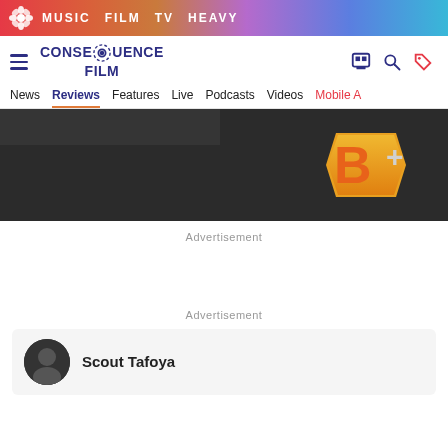MUSIC  FILM  TV  HEAVY
[Figure (logo): Consequence Film logo with gear icon and hamburger menu, search and tag icons]
News  Reviews  Features  Live  Podcasts  Videos  Mobile A
[Figure (other): Dark hero banner with partial photo and B+ rating badge in orange/gold]
Advertisement
Advertisement
Scout Tafoya